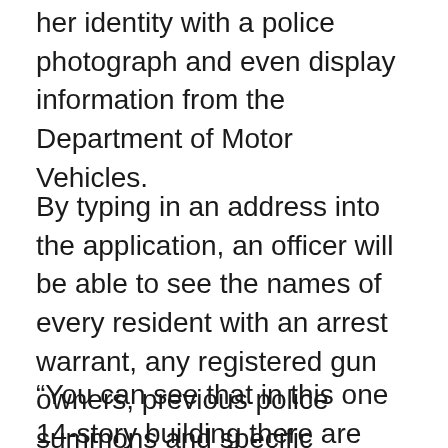her identity with a police photograph and even display information from the Department of Motor Vehicles.
By typing in an address into the application, an officer will be able to see the names of every resident with an arrest warrant, any registered gun owners, previous police summons and specific information about earlier disputes.
“You can see that in this one 14-story building there are thousands and thousands of records,”